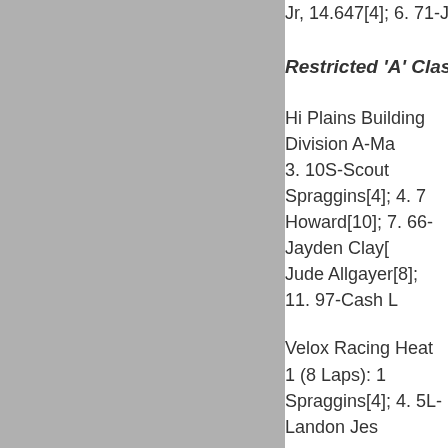Jr, 14.647[4]; 6. 71-Jaxton Wiggs
Restricted 'A' Class
Hi Plains Building Division A-Ma 3. 10S-Scout Spraggins[4]; 4. 7 Howard[10]; 7. 66-Jayden Clay[ Jude Allgayer[8]; 11. 97-Cash L
Velox Racing Heat 1 (8 Laps): 1 Spraggins[4]; 4. 5L-Landon Jes
Velox Racing Heat 2 (8 Laps): 1 Aiden Howard[3]; 4. 4-Jude Allg
Qualifying 1 (3 Laps): 1. 10S-Sc 71-Jaxton Wiggs, 15.185[1]; 4. 15.672[6]; 6. 2C-Lucas Conner,
Qualifying 2 (3 Laps): 1. B2-Car 97-Cash Lacombe, 15.511[1]; 4
MEDIA LINKS